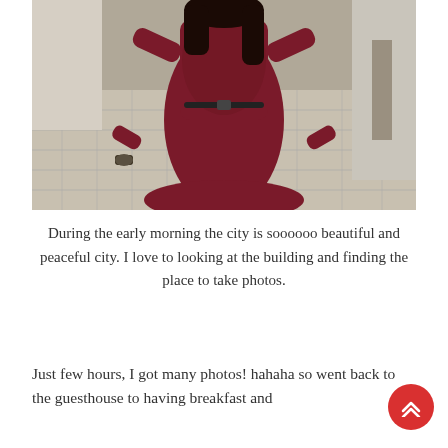[Figure (photo): A woman wearing a dark red/maroon lace dress with a black belt and a watch on her wrist, standing on a cobblestone street with stone buildings in the background.]
During the early morning the city is soooooo beautiful and peaceful city. I love to looking at the building and finding the place to take photos.
Just few hours, I got many photos! hahaha so went back to the guesthouse to having breakfast and